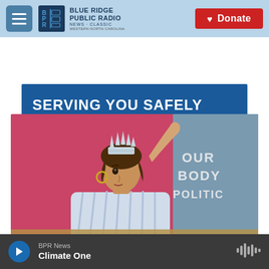[Figure (screenshot): Blue Ridge Public Radio website header with hamburger menu, BPR logo, and red Donate button on light blue background]
[Figure (illustration): Blue banner reading SERVING YOU SAFELY for healthy spirit, mind & body]
[Figure (illustration): Our Body Politic podcast artwork showing illustrated woman wearing Statue of Liberty crown on pink/blue background with text OUR BODY POLITIC]
BPR News — Climate One (audio player bar with play button and waveform icon)